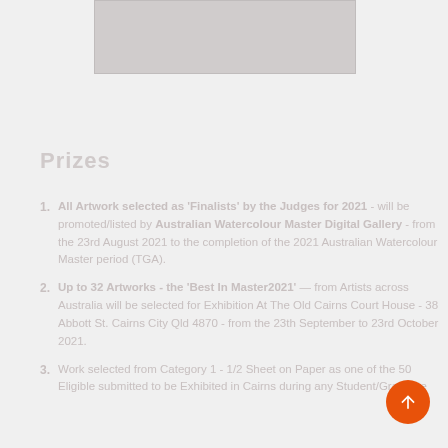[Figure (photo): Partial image at top of page, grey/muted tones]
Prizes
All Artwork selected as 'Finalists' by the Judges for 2021 - will be promoted/listed by Australian Watercolour Master Digital Gallery - from the 23rd August 2021 to the completion of the 2021 Australian Watercolour Master period (TGA).
Up to 32 Artworks - the 'Best In Master2021' — from Artists across Australia will be selected for Exhibition At The Old Cairns Court House - 38 Abbott St. Cairns City Qld 4870 - from the 23th September to 23rd October 2021.
Work selected from Category 1 - 1/2 Sheet on Paper as one of the 50 Eligible submitted to be Exhibited in Cairns during any Student/Graduate